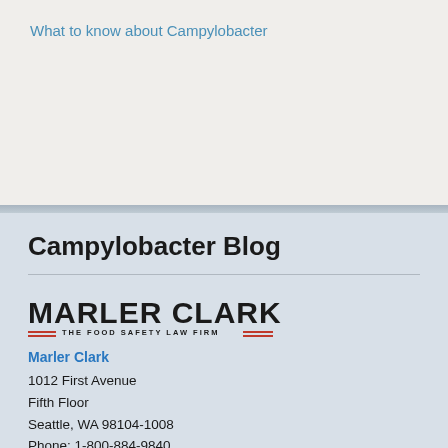What to know about Campylobacter
Campylobacter Blog
[Figure (logo): Marler Clark - The Food Safety Law Firm logo with red decorative lines]
Marler Clark
1012 First Avenue
Fifth Floor
Seattle, WA 98104-1008
Phone: 1-800-884-9840
[Figure (infographic): Social media icons: RSS (orange), Instagram, Twitter (blue), Facebook (dark blue), LinkedIn (blue)]
Privacy Policy | Disclaimer: